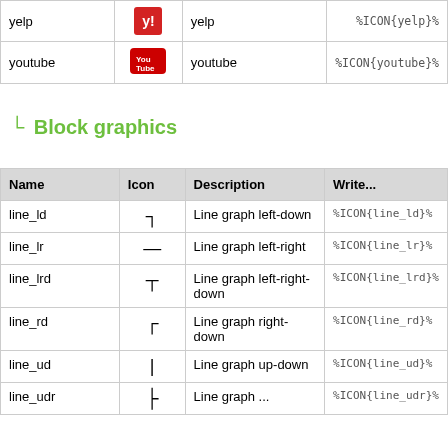| Name | Icon | Description | Write... |
| --- | --- | --- | --- |
| yelp | [yelp icon] | yelp | %ICON{yelp}% |
| youtube | [youtube icon] | youtube | %ICON{youtube}% |
└ Block graphics
| Name | Icon | Description | Write... |
| --- | --- | --- | --- |
| line_ld | ¬ | Line graph left-down | %ICON{line_ld}% |
| line_lr | — | Line graph left-right | %ICON{line_lr}% |
| line_lrd | ┬ | Line graph left-right-down | %ICON{line_lrd}% |
| line_rd | ┌ | Line graph right-down | %ICON{line_rd}% |
| line_ud | | | Line graph up-down | %ICON{line_ud}% |
| line_udr | | | Line graph ... | %ICON{line_udr}% |